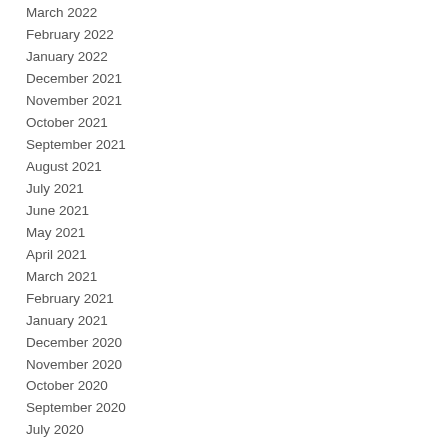March 2022
February 2022
January 2022
December 2021
November 2021
October 2021
September 2021
August 2021
July 2021
June 2021
May 2021
April 2021
March 2021
February 2021
January 2021
December 2020
November 2020
October 2020
September 2020
July 2020